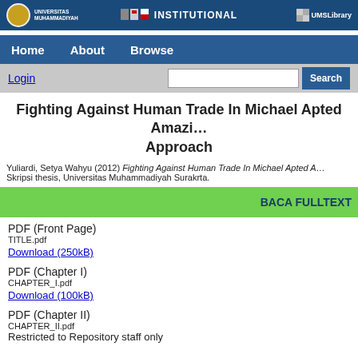UNIVERSITAS MUHAMMADIYAH | INSTITUTIONAL | UMSLibrary
Home   About   Browse
Login   Search
Fighting Against Human Trade In Michael Apted Amazi… Approach
Yuliardi, Setya Wahyu (2012) Fighting Against Human Trade In Michael Apted A… Skripsi thesis, Universitas Muhammadiyah Surakrta.
BACA FULLTEXT
PDF (Front Page)
TITLE.pdf
Download (250kB)
PDF (Chapter I)
CHAPTER_I.pdf
Download (100kB)
PDF (Chapter II)
CHAPTER_II.pdf
Restricted to Repository staff only